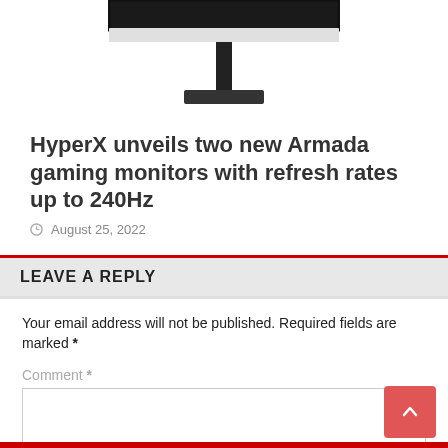[Figure (illustration): Gaming monitor on a stand, partially cropped at top, dark background visible at the very top, monitor stand is visible in detail against white background]
HyperX unveils two new Armada gaming monitors with refresh rates up to 240Hz
August 25, 2022
LEAVE A REPLY
Your email address will not be published. Required fields are marked *
Comment *